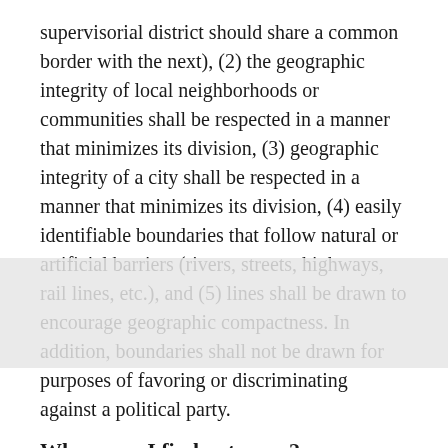supervisorial district should share a common border with the next), (2) the geographic integrity of local neighborhoods or communities shall be respected in a manner that minimizes its division, (3) geographic integrity of a city shall be respected in a manner that minimizes its division, (4) easily identifiable boundaries that follow natural or artificial barriers (rivers, streets, highways, rail lines, etc.), and (5) lines shall be drawn to encourage geographic compactness. In addition, boundaries shall not be drawn for purposes of favoring or discriminating against a political party.
Where can I find out more?
The County maintains a webpage on the County's